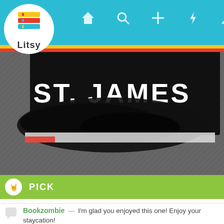[Figure (screenshot): Litsy app navigation bar with logo and icons for home, search, add, notifications, and profile on teal background]
[Figure (photo): Close-up photo of a book cover or spine showing 'ST. JAMES' in white letters on black background with dark textured surface]
PICK
This took entirely too long for me to read given all of the year end craziness. But I found it engaging and creepy and I'm now officially a fan of Simone St. James.

Now let the 17 Day Staycation commence! 🏠🏠🏠
Bookzombie — I'm glad you enjoyed this one! Enjoy your staycation!